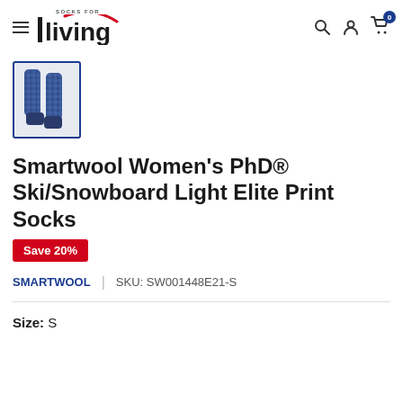[Figure (logo): Socks for Living logo with hamburger menu icon on left and search, account, cart icons on right]
[Figure (photo): Thumbnail image of Smartwool Women's PhD Ski/Snowboard Light Elite Print Socks in blue print pattern, shown in a blue-bordered box]
Smartwool Women's PhD® Ski/Snowboard Light Elite Print Socks
Save 20%
SMARTWOOL  |  SKU: SW001448E21-S
Size: S